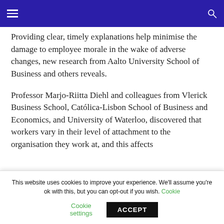Providing clear, timely explanations help minimise the damage to employee morale in the wake of adverse changes, new research from Aalto University School of Business and others reveals.
Professor Marjo-Riitta Diehl and colleagues from Vlerick Business School, Católica-Lisbon School of Business and Economics, and University of Waterloo, discovered that workers vary in their level of attachment to the organisation they work at, and this affects...
This website uses cookies to improve your experience. We'll assume you're ok with this, but you can opt-out if you wish. Cookie settings ACCEPT